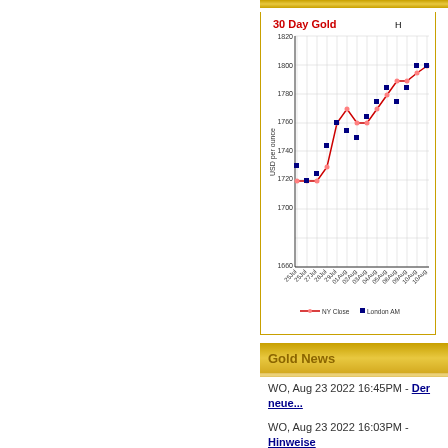[Figure (line-chart): 30 Day Gold price chart showing NY Close (red line) and London AM (blue squares) from approximately July 25 to August 10. Prices range roughly from 1700 to 1820 USD per ounce, with an upward trend from ~1720 to ~1800.]
Gold News
WO, Aug 23 2022 16:45PM - Der neue...
WO, Aug 23 2022 16:03PM - Hinweise Verbesserungsvorschläge (2)
WO, Aug 23 2022 15:40PM - Bundesw...